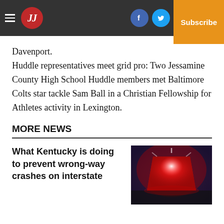JJ — Log In — Subscribe
Davenport.
Huddle representatives meet grid pro: Two Jessamine County High School Huddle members met Baltimore Colts star tackle Sam Ball in a Christian Fellowship for Athletes activity in Lexington.
MORE NEWS
What Kentucky is doing to prevent wrong-way crashes on interstate
[Figure (photo): A red emergency/police siren light glowing brightly against a dark purple/blue background.]